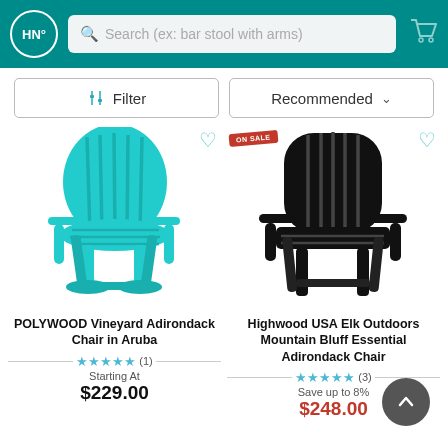HN® Search (ex: bar stool with arms)
Filter | Recommended
[Figure (photo): Turquoise POLYWOOD Vineyard Adirondack Chair with heart/favorite icon]
POLYWOOD Vineyard Adirondack Chair in Aruba
★★★★★ (1) Starting At $229.00
[Figure (photo): Black Highwood USA Elk Outdoors Mountain Bluff Essential Adirondack Chair with ON SALE badge and heart icon]
Highwood USA Elk Outdoors Mountain Bluff Essential Adirondack Chair
★★★★★ (3) Save up to 8% $248.00